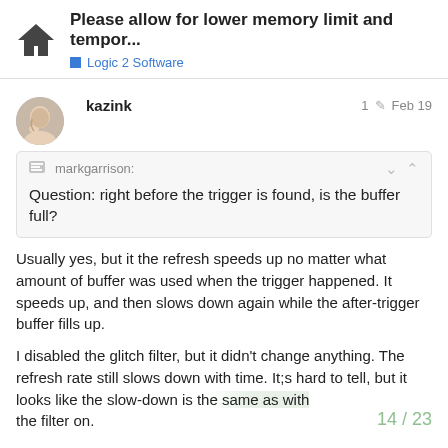Please allow for lower memory limit and tempor... | Logic 2 Software
kazink   1  Feb 19
markgarrison:
Question: right before the trigger is found, is the buffer full?
Usually yes, but it the refresh speeds up no matter what amount of buffer was used when the trigger happened. It speeds up, and then slows down again while the after-trigger buffer fills up.
I disabled the glitch filter, but it didn't change anything. The refresh rate still slows down with time. It;s hard to tell, but it looks like the slow-down is the same as with the filter on.
14 / 23